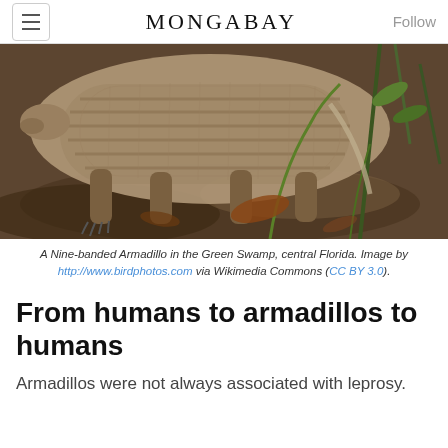MONGABAY
[Figure (photo): Close-up photo of a Nine-banded Armadillo in the Green Swamp, central Florida, showing its distinctive armored shell and clawed feet on leaf-covered ground.]
A Nine-banded Armadillo in the Green Swamp, central Florida. Image by http://www.birdphotos.com via Wikimedia Commons (CC BY 3.0).
From humans to armadillos to humans
Armadillos were not always associated with leprosy.